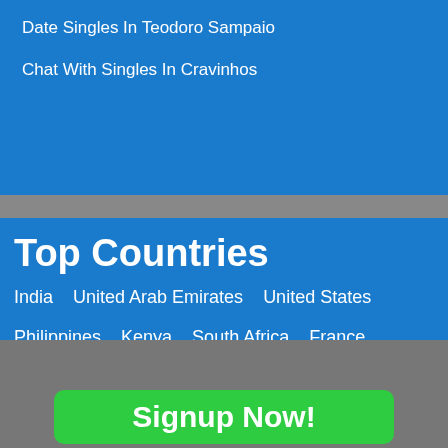Date Singles In Teodoro Sampaio
Chat With Singles In Cravinhos
Top Countries
India   United Arab Emirates   United States
Philippines   Kenya   South Africa   France
Bangladesh   Saudi Arabia   United States Of America
United Kingdom   Qatar   Malaysia   Egypt
Netherlands   Nepal
Signup Now!